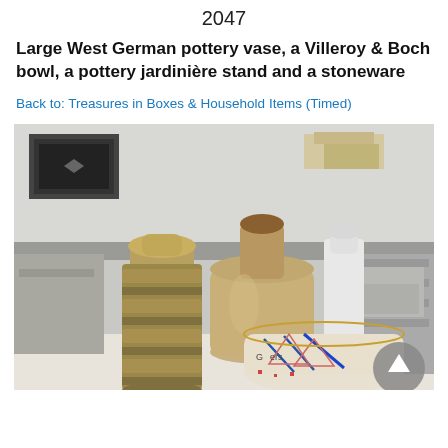2047
Large West German pottery vase, a Villeroy & Boch bowl, a pottery jardinière stand and a stoneware
Back to: Treasures in Boxes & Household Items (Timed)
[Figure (photo): Photograph of several pieces of pottery and stoneware arranged on a table in an auction setting. Items include a large textured West German pottery vase with olive/mustard glaze on the left, a stoneware bottle jug in the centre, a white vase, and a decorative Villeroy & Boch bowl with blue and pink geometric patterns in the foreground right. Shelving units with boxes visible in the background.]